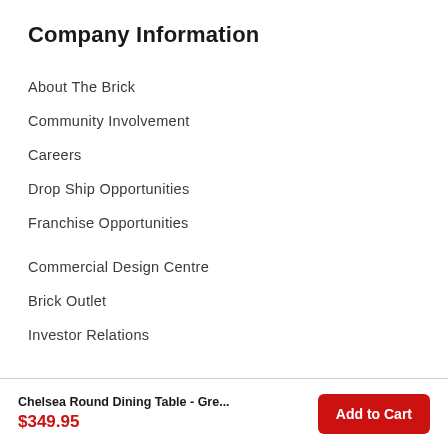Company Information
About The Brick
Community Involvement
Careers
Drop Ship Opportunities
Franchise Opportunities
Commercial Design Centre
Brick Outlet
Investor Relations
Chelsea Round Dining Table - Gre... $349.95 Add to Cart